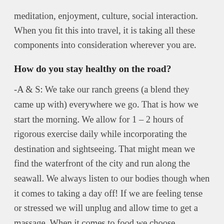meditation, enjoyment, culture, social interaction. When you fit this into travel, it is taking all these components into consideration wherever you are.
How do you stay healthy on the road?
-A & S: We take our ranch greens (a blend they came up with) everywhere we go. That is how we start the morning. We allow for 1 – 2 hours of rigorous exercise daily while incorporating the destination and sightseeing. That might mean we find the waterfront of the city and run along the seawall. We always listen to our bodies though when it comes to taking a day off! If we are feeling tense or stressed we will unplug and allow time to get a massage. When it comes to food we choose restaurants and enjoy the culture all while being conscious. We eat food local to the destination and enjoy it! Research actually shows that enjoying our